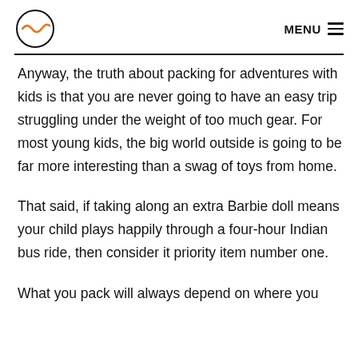MENU
Anyway, the truth about packing for adventures with kids is that you are never going to have an easy trip struggling under the weight of too much gear. For most young kids, the big world outside is going to be far more interesting than a swag of toys from home.
That said, if taking along an extra Barbie doll means your child plays happily through a four-hour Indian bus ride, then consider it priority item number one.
What you pack will always depend on where you